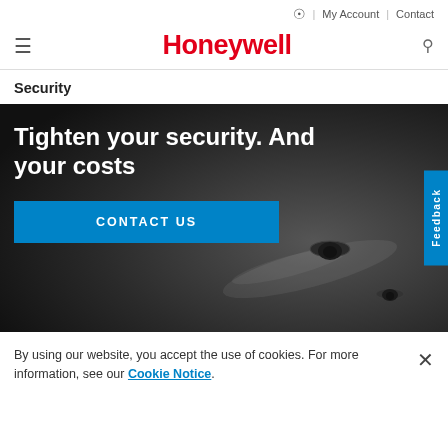🌐 | My Account | Contact
[Figure (screenshot): Honeywell website header with logo, hamburger menu, and search icon]
Security
[Figure (photo): Dark hero banner with security cameras on ceiling background, text 'Tighten your security. And your costs' with a blue CONTACT US button and a blue Feedback tab on the right side]
By using our website, you accept the use of cookies. For more information, see our Cookie Notice.